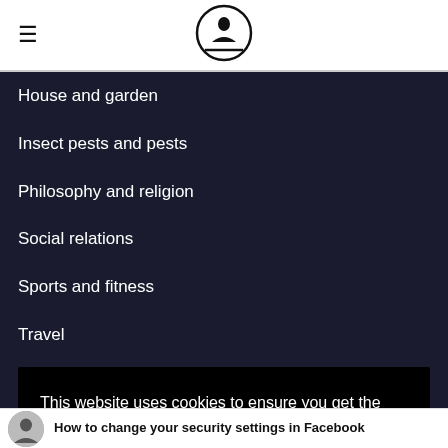≡ [site logo — reading figure icon]
House and garden
Insect pests and pests
Philosophy and religion
Social relations
Sports and fitness
Travel
This website uses cookies to ensure you get the best experience on our website. Learn more
Got it!
How to change your security settings in Facebook